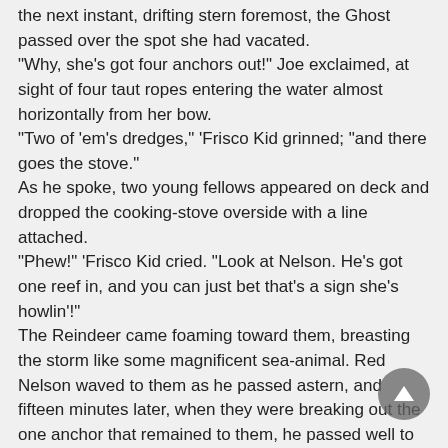the next instant, drifting stern foremost, the Ghost passed over the spot she had vacated.
"Why, she's got four anchors out!" Joe exclaimed, at sight of four taut ropes entering the water almost horizontally from her bow.
"Two of 'em's dredges," 'Frisco Kid grinned; "and there goes the stove."
As he spoke, two young fellows appeared on deck and dropped the cooking-stove overside with a line attached.
"Phew!" 'Frisco Kid cried. "Look at Nelson. He's got one reef in, and you can just bet that's a sign she's howlin'!"
The Reindeer came foaming toward them, breasting the storm like some magnificent sea-animal. Red Nelson waved to them as he passed astern, and fifteen minutes later, when they were breaking out the one anchor that remained to them, he passed well to windward on the other tack.
French Pete followed her admiringly, though he said ominously: "Some day, pouf! he go just like dat, I tell you, sure."
A moment later the Dazzler's reefed jib was flung out, and she was straining and struggling in the thick of the fight. It was slow work, and hard and dangerous, clawing off that lee shore, and Joe found himself marveling often that so small a